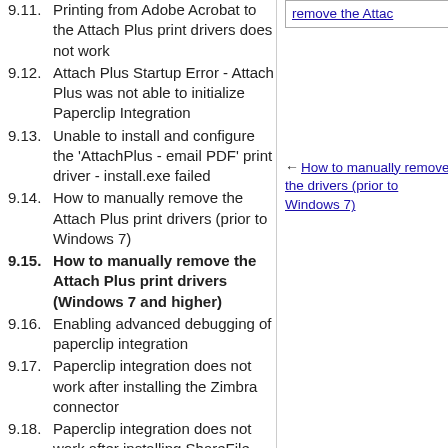9.11. Printing from Adobe Acrobat to the Attach Plus print drivers does not work
9.12. Attach Plus Startup Error - Attach Plus was not able to initialize Paperclip Integration
9.13. Unable to install and configure the 'AttachPlus - email PDF' print driver - install.exe failed
9.14. How to manually remove the Attach Plus print drivers (prior to Windows 7)
9.15. How to manually remove the Attach Plus print drivers (Windows 7 and higher)
9.16. Enabling advanced debugging of paperclip integration
9.17. Paperclip integration does not work after installing the Zimbra connector
9.18. Paperclip integration does not work after installing ShareFile addon for Outlook
[Figure (screenshot): Sidebar box showing truncated link text 'remove the Attac']
← How to manually remove the drivers (prior to Windows 7)